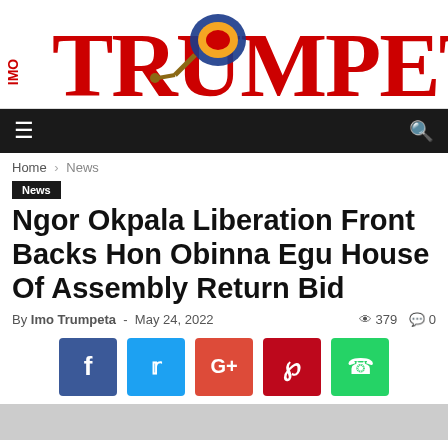[Figure (logo): Imo Trumpeta newspaper logo with red serif text and trumpet graphic]
Navigation bar with hamburger menu and search icon
Home › News
News
Ngor Okpala Liberation Front Backs Hon Obinna Egu House Of Assembly Return Bid
By Imo Trumpeta - May 24, 2022   379   0
[Figure (infographic): Social share buttons: Facebook, Twitter, Google+, Pinterest, WhatsApp]
[Figure (photo): Gray placeholder image at bottom of page]